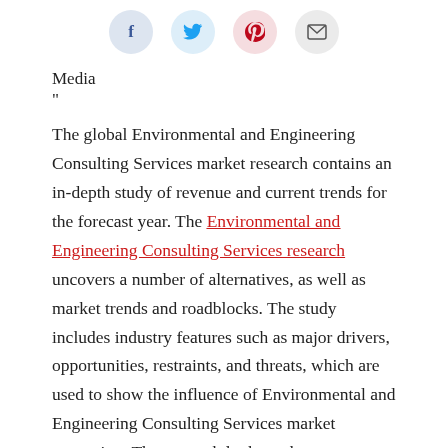[Figure (other): Social media share icons: Facebook (f), Twitter (bird), Pinterest (P), Email (envelope) in circular buttons]
Media
“
The global Environmental and Engineering Consulting Services market research contains an in-depth study of revenue and current trends for the forecast year. The Environmental and Engineering Consulting Services research uncovers a number of alternatives, as well as market trends and roadblocks. The study includes industry features such as major drivers, opportunities, restraints, and threats, which are used to show the influence of Environmental and Engineering Consulting Services market expansion. The research looks at the current situation of the